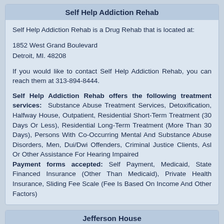Self Help Addiction Rehab
Self Help Addiction Rehab is a Drug Rehab that is located at:
1852 West Grand Boulevard
Detroit, MI. 48208
If you would like to contact Self Help Addiction Rehab, you can reach them at 313-894-8444.
Self Help Addiction Rehab offers the following treatment services: Substance Abuse Treatment Services, Detoxification, Halfway House, Outpatient, Residential Short-Term Treatment (30 Days Or Less), Residential Long-Term Treatment (More Than 30 Days), Persons With Co-Occurring Mental And Substance Abuse Disorders, Men, Dui/Dwi Offenders, Criminal Justice Clients, Asl Or Other Assistance For Hearing Impaired
Payment forms accepted: Self Payment, Medicaid, State Financed Insurance (Other Than Medicaid), Private Health Insurance, Sliding Fee Scale (Fee Is Based On Income And Other Factors)
Jefferson House